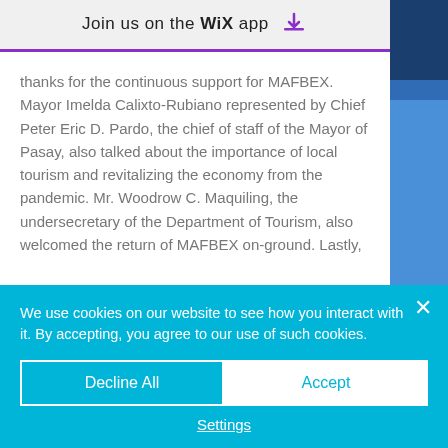Join us on the WiX app
thanks for the continuous support for MAFBEX. Mayor Imelda Calixto-Rubiano represented by Chief Peter Eric D. Pardo, the chief of staff of the Mayor of Pasay, also talked about the importance of local tourism and revitalizing the economy from the pandemic. Mr. Woodrow C. Maquiling, the undersecretary of the Department of Tourism, also welcomed the return of MAFBEX on-ground. Lastly,
We use cookies on our website to see how you interact with it. By accepting, you agree to our use of such cookies.
Decline All
Accept
Settings